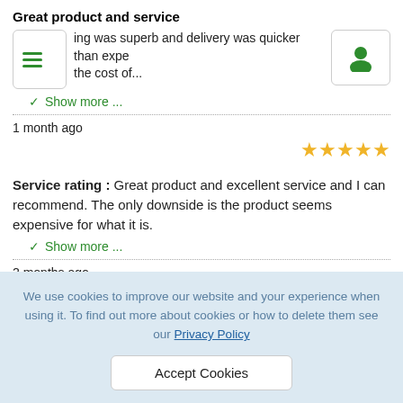Great product and service
ing was superb and delivery was quicker than expe the cost of...
Show more ...
1 month ago
[Figure (other): 5 gold stars rating]
Service rating : Great product and excellent service and I can recommend. The only downside is the product seems expensive for what it is.
Show more ...
2 months ago
[Figure (other): 5 gold stars rating (partially visible)]
We use cookies to improve our website and your experience when using it. To find out more about cookies or how to delete them see our Privacy Policy
Accept Cookies